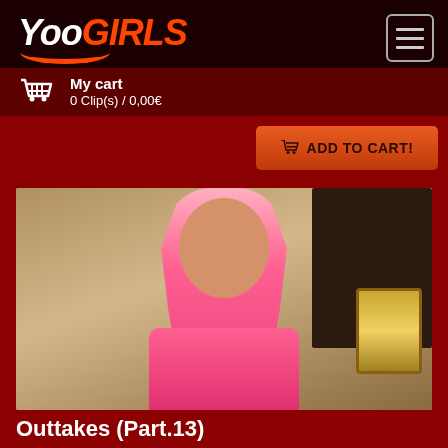YooGirls
My cart
0 Clip(s) / 0,00€
ADD TO CART!
[Figure (photo): Woman with long pink and blonde hair wearing a pink outfit, sitting in a room with a bookcase and lit window lamp in the background.]
Outtakes (Part.13)